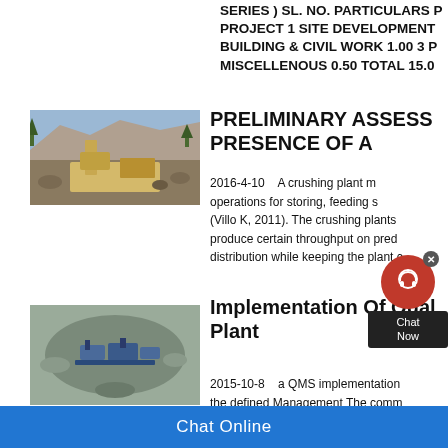SERIES ) SL. NO. PARTICULARS PROJECT 1 SITE DEVELOPMENT BUILDING & CIVIL WORK 1.00 3 P MISCELLENOUS 0.50 TOTAL 15.00
PRELIMINARY ASSESS PRESENCE OF A
[Figure (photo): Photograph of a crushing plant with heavy machinery and excavator working in a quarry with rocky terrain]
2016-4-10    A crushing plant m operations for storing, feeding s (Villo K, 2011). The crushing plants produce certain throughput on pred distribution while keeping the plant c
Implementation Of Qual Plant
[Figure (photo): Aerial photograph of a crushing plant facility in a quarry]
2015-10-8    a QMS implementation the defined Management The comm
Chat Online